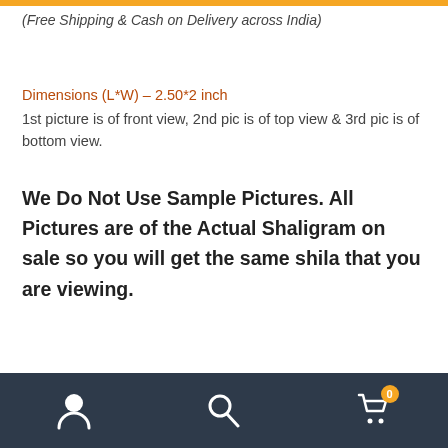(Free Shipping & Cash on Delivery across India)
Dimensions (L*W) – 2.50*2 inch
1st picture is of front view, 2nd pic is of top view & 3rd pic is of bottom view.
We Do Not Use Sample Pictures. All Pictures are of the Actual Shaligram on sale so you will get the same shila that you are viewing.
Free Energization | Cash on Delivery
Categories: Laxmi Hayagriva Shaligram, Shaligram Shila